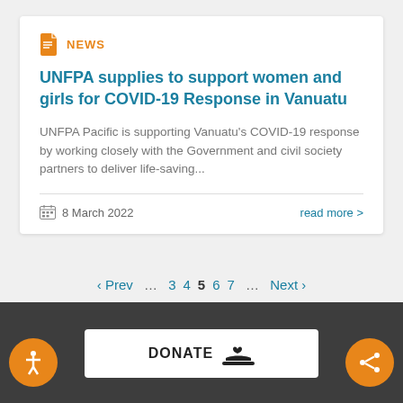NEWS
UNFPA supplies to support women and girls for COVID-19 Response in Vanuatu
UNFPA Pacific is supporting Vanuatu's COVID-19 response by working closely with the Government and civil society partners to deliver life-saving...
8 March 2022
read more >
‹ Prev … 3 4 5 6 7 … Next ›
DONATE